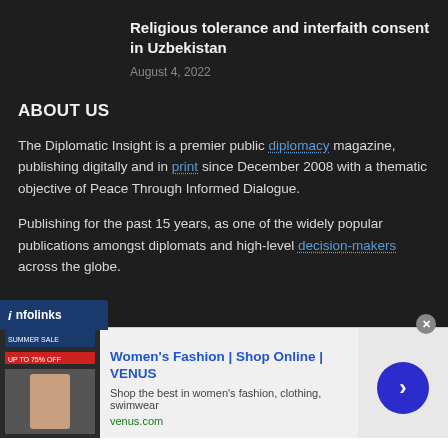Religious tolerance and interfaith consent in Uzbekistan
August 4, 2022
ABOUT US
The Diplomatic Insight is a premier public diplomacy magazine, publishing digitally and in print since December 2008 with a thematic objective of Peace Through Informed Dialogue.
Publishing for the past 15 years, as one of the widely popular publications amongst diplomats and high-level decision-makers across the globe.
[Figure (infographic): Advertisement banner: infolinks bar, Women's Fashion | Shop Online | VENUS ad with thumbnail, subtext, URL venus.com, and blue arrow button]